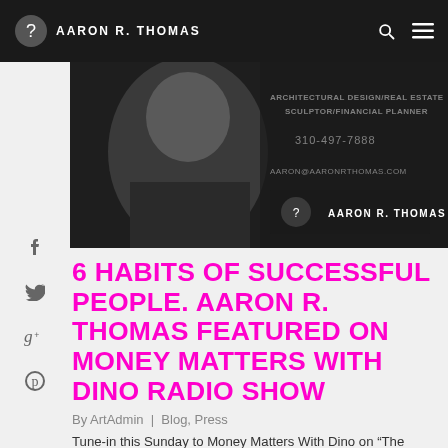AARON R. THOMAS
[Figure (photo): Black and white photo of Aaron R. Thomas smiling, with text overlay showing 'ARCHITECTURAL DESIGN/REAL ESTATE SCULPTOR/FINANCIAL PLANNER', phone number 310-497-7888, email AARON@AARONRTHOMAS.COM, and Aaron R. Thomas logo]
6 HABITS OF SUCCESSFUL PEOPLE. AARON R. THOMAS FEATURED ON MONEY MATTERS WITH DINO RADIO SHOW
By ArtAdmin | Blog, Press
Tune-in this Sunday to Money Matters With Dino on "The Patriot" AM 1150 to hear Aaron R. Thomas share his six habits of successful people on "Rich...